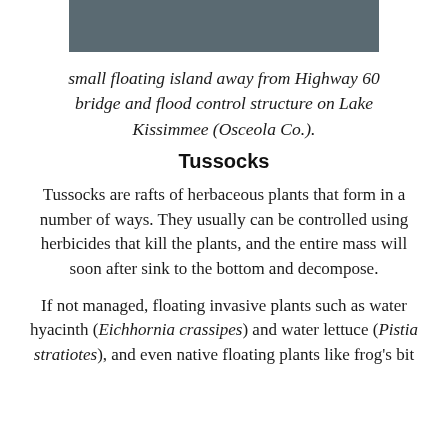[Figure (photo): Partial view of a photograph showing a small floating island on Lake Kissimmee]
small floating island away from Highway 60 bridge and flood control structure on Lake Kissimmee (Osceola Co.).
Tussocks
Tussocks are rafts of herbaceous plants that form in a number of ways. They usually can be controlled using herbicides that kill the plants, and the entire mass will soon after sink to the bottom and decompose.
If not managed, floating invasive plants such as water hyacinth (Eichhornia crassipes) and water lettuce (Pistia stratiotes), and even native floating plants like frog's bit